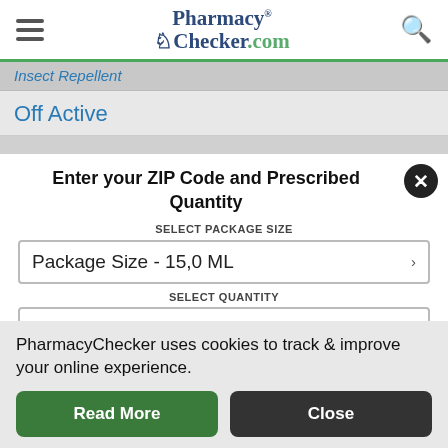PharmacyChecker.com
Insect Repellent
Off Active
Enter your ZIP Code and Prescribed Quantity
SELECT PACKAGE SIZE
Package Size - 15,0 ML
SELECT QUANTITY
1
PharmacyChecker uses cookies to track & improve your online experience.
Read More
Close